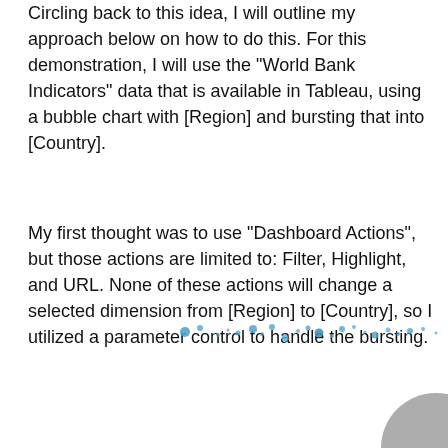Circling back to this idea, I will outline my approach below on how to do this. For this demonstration, I will use the "World Bank Indicators" data that is available in Tableau, using a bubble chart with [Region] and bursting that into [Country].
My first thought was to use "Dashboard Actions", but those actions are limited to: Filter, Highlight, and URL. None of these actions will change a selected dimension from [Region] to [Country], so I utilized a parameter control to handle the bursting.
[Figure (scatter-plot): A partial scatter plot showing small blue dots of varying sizes scattered horizontally across the page, representing a bubble/scatter chart of World Bank Indicators data. The chart is partially visible, cropped at the top and right edges.]